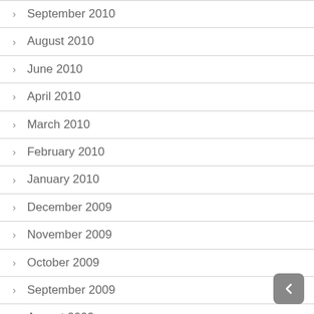September 2010
August 2010
June 2010
April 2010
March 2010
February 2010
January 2010
December 2009
November 2009
October 2009
September 2009
August 2009
July 2009